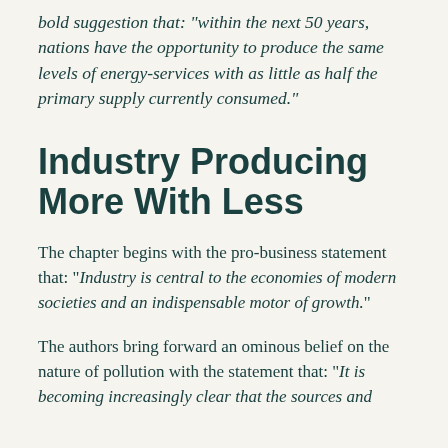bold suggestion that: "within the next 50 years, nations have the opportunity to produce the same levels of energy-services with as little as half the primary supply currently consumed."
Industry Producing More With Less
The chapter begins with the pro-business statement that: "Industry is central to the economies of modern societies and an indispensable motor of growth."
The authors bring forward an ominous belief on the nature of pollution with the statement that: "It is becoming increasingly clear that the sources and